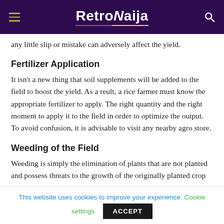RetroNaija
any little slip or mistake can adversely affect the yield.
Fertilizer Application
It isn't a new thing that soil supplements will be added to the field to boost the yield. As a reult, a rice farmer must know the appropriate fertilizer to apply. The right quantity and the right moment to apply it to the field in order to optimize the output. To avoid confusion, it is advisable to visit any nearby agro store.
Weeding of the Field
Weeding is simply the elimination of plants that are not planted and possess threats to the growth of the originally planted crop
This website uses cookies to improve your experience. Cookie settings ACCEPT